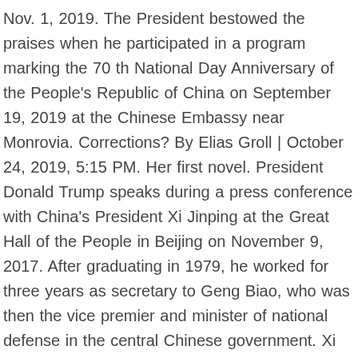Nov. 1, 2019. The President bestowed the praises when he participated in a program marking the 70 th National Day Anniversary of the People's Republic of China on September 19, 2019 at the Chinese Embassy near Monrovia. Corrections? By Elias Groll | October 24, 2019, 5:15 PM. Her first novel. President Donald Trump speaks during a press conference with China's President Xi Jinping at the Great Hall of the People in Beijing on November 9, 2017. After graduating in 1979, he worked for three years as secretary to Geng Biao, who was then the vice premier and minister of national defense in the central Chinese government. Xi Jinping studied chemical engineering from 1975 to 1979, at the prestigious Tsinghua University in Beijing but he never worked in a related field. Abkhazia Vice President - Aslan Bartsits (2019-2020)